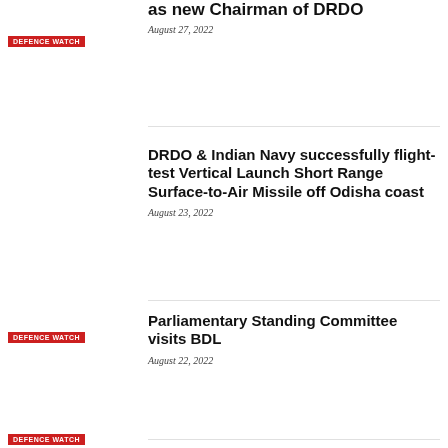as new Chairman of DRDO
August 27, 2022
DEFENCE WATCH
DRDO & Indian Navy successfully flight-test Vertical Launch Short Range Surface-to-Air Missile off Odisha coast
August 23, 2022
DEFENCE WATCH
Parliamentary Standing Committee visits BDL
August 22, 2022
DEFENCE WATCH